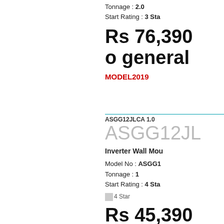Tonnage : 2.0
Start Rating : 3 Star
Rs 76,390
o general
MODEL2019
ASGG12JLCA 1.0
ASGG12JL
Inverter Wall Mou
Model No : ASGG1
Tonnage : 1
Start Rating : 4 Star
[Figure (other): 4 Star rating image placeholder]
4 Star
Rs 45,390
o general